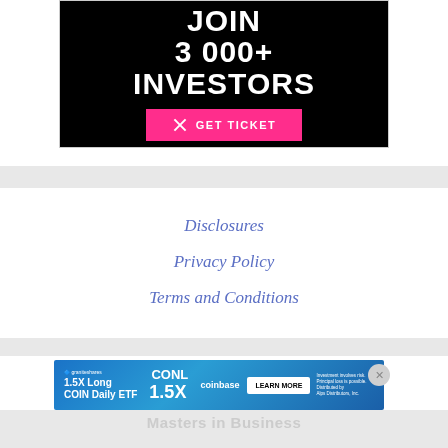[Figure (illustration): Black background advertisement banner with white bold text 'JOIN 3 000+ INVESTORS' and a pink 'GET TICKET' button with an X icon]
Disclosures
Privacy Policy
Terms and Conditions
[Figure (illustration): Blue gradient ad banner for GraniteShares CONL 1.5X Long COIN Daily ETF with coinbase branding, LEARN MORE button, and investment loss disclaimer]
Masters in Business